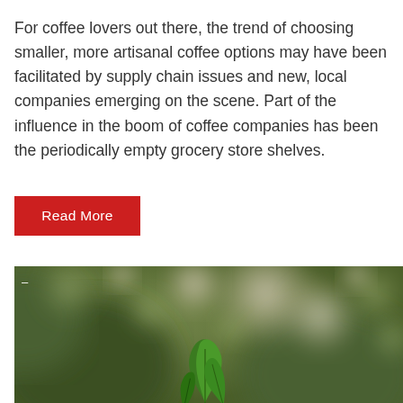For coffee lovers out there, the trend of choosing smaller, more artisanal coffee options may have been facilitated by supply chain issues and new, local companies emerging on the scene. Part of the influence in the boom of coffee companies has been the periodically empty grocery store shelves.
Read More
[Figure (photo): Blurred bokeh background in green and beige tones with a green plant leaf emerging from the bottom center of the image.]